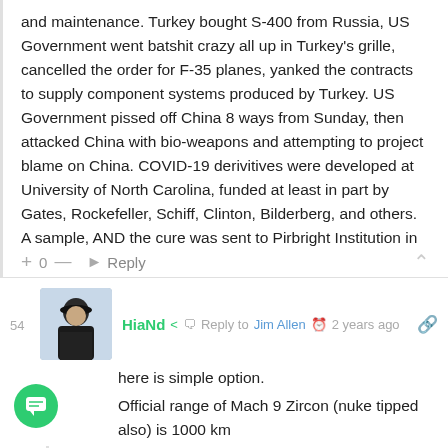and maintenance. Turkey bought S-400 from Russia, US Government went batshit crazy all up in Turkey's grille, cancelled the order for F-35 planes, yanked the contracts to supply component systems produced by Turkey. US Government pissed off China 8 ways from Sunday, then attacked China with bio-weapons and attempting to project blame on China. COVID-19 derivitives were developed at University of North Carolina, funded at least in part by Gates, Rockefeller, Schiff, Clinton, Bilderberg, and others. A sample, AND the cure was sent to Pirbright Institution in London. Interesting that Lord Pirbright is a Rothschild. A long twisted inflated, and perverted story.
+ 0 — → Reply ∧
HiaNd  Reply to Jim Allen  2 years ago
here is simple option.
Official range of Mach 9 Zircon (nuke tipped also) is 1000 km